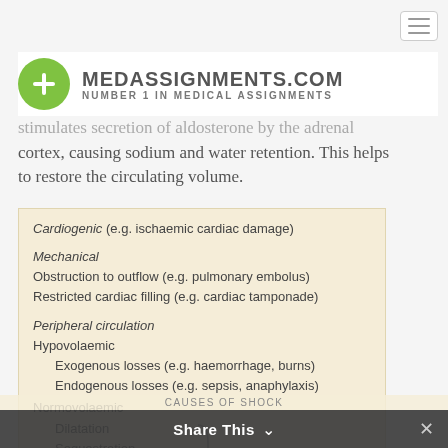[Figure (logo): MedAssignments.com logo with green circle and plus sign]
stimulates secretion of aldosterone by the adrenal cortex, causing sodium and water retention. This helps to restore the circulating volume.
| Cardiogenic (e.g. ischaemic cardiac damage) |
| Mechanical |
| Obstruction to outflow (e.g. pulmonary embolus) |
| Restricted cardiac filling (e.g. cardiac tamponade) |
| Peripheral circulation |
| Hypovolaemic |
| Exogenous losses (e.g. haemorrhage, burns) |
| Endogenous losses (e.g. sepsis, anaphylaxis) |
| Normovolaemic |
| Dilatation |
| Sequestration | (e.g. sepsis, |
| Arteriovenous shunting | anaphylaxis) |
| Maldistribution of flow |
CAUSES OF SHOCK
Share This